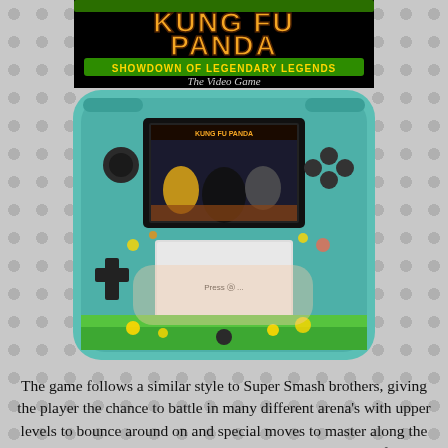[Figure (photo): Kung Fu Panda: Showdown of Legendary Legends - The Video Game title screen/logo on black background]
[Figure (photo): A hand holding a Nintendo 2DS with a Kung Fu Panda themed skin/case, showing the Kung Fu Panda game on screen with characters visible]
The game follows a similar style to Super Smash brothers, giving the player the chance to battle in many different arena's with upper levels to bounce around on and special moves to master along the way. I am not ashamed to say that I am terrible at it and I follow the same fighting style as I did playing the first Street fighter game many many years